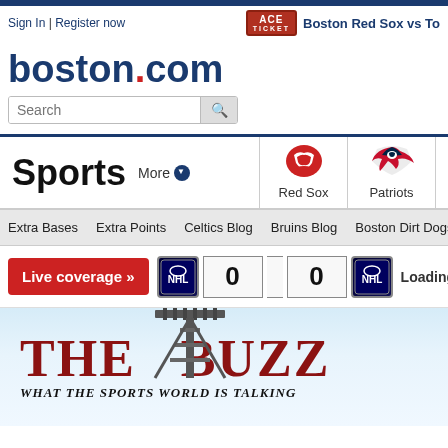Sign In | Register now
Boston Red Sox vs To...
[Figure (logo): boston.com logo in bold blue text with red dot]
Search
Sports  More ▾
[Figure (logo): Boston Red Sox logo - red socks emblem]
Red Sox
[Figure (logo): New England Patriots logo - patriot head with red/white/blue]
Patriots
Extra Bases
Extra Points
Celtics Blog
Bruins Blog
Boston Dirt Dogs
Th...
Live coverage »
0  0  Loading...
[Figure (infographic): THE BUZZ - WHAT THE SPORTS WORLD IS TALKING banner with stadium lights tower graphic]